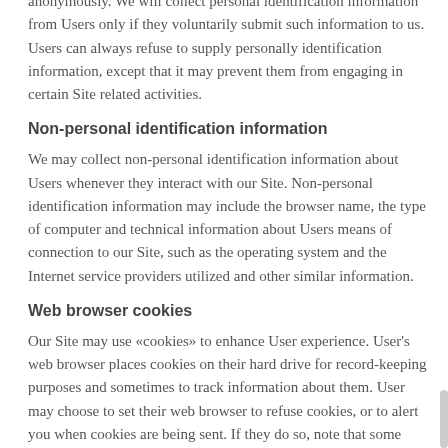anonymously. We will collect personal identification information from Users only if they voluntarily submit such information to us. Users can always refuse to supply personally identification information, except that it may prevent them from engaging in certain Site related activities.
Non-personal identification information
We may collect non-personal identification information about Users whenever they interact with our Site. Non-personal identification information may include the browser name, the type of computer and technical information about Users means of connection to our Site, such as the operating system and the Internet service providers utilized and other similar information.
Web browser cookies
Our Site may use «cookies» to enhance User experience. User's web browser places cookies on their hard drive for record-keeping purposes and sometimes to track information about them. User may choose to set their web browser to refuse cookies, or to alert you when cookies are being sent. If they do so, note that some parts of the Site may not function properly.